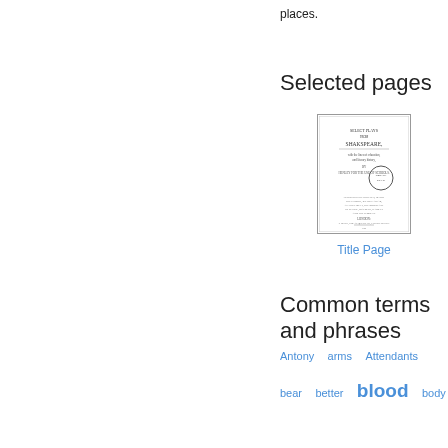places.
Selected pages
[Figure (illustration): Thumbnail image of the title page of 'Select Plays from Shakspeare' with a circular library stamp]
Title Page
Common terms and phrases
Antony   arms   Attendants
bear   better   blood   body